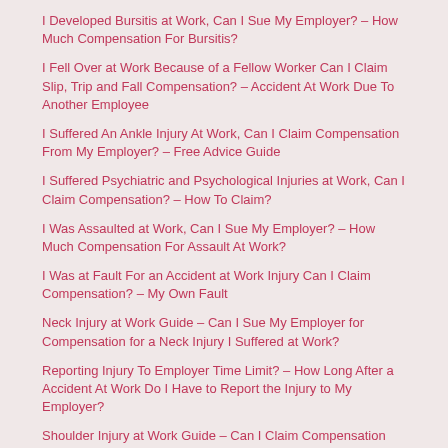I Developed Bursitis at Work, Can I Sue My Employer? – How Much Compensation For Bursitis?
I Fell Over at Work Because of a Fellow Worker Can I Claim Slip, Trip and Fall Compensation? – Accident At Work Due To Another Employee
I Suffered An Ankle Injury At Work, Can I Claim Compensation From My Employer? – Free Advice Guide
I Suffered Psychiatric and Psychological Injuries at Work, Can I Claim Compensation? – How To Claim?
I Was Assaulted at Work, Can I Sue My Employer? – How Much Compensation For Assault At Work?
I Was at Fault For an Accident at Work Injury Can I Claim Compensation? – My Own Fault
Neck Injury at Work Guide – Can I Sue My Employer for Compensation for a Neck Injury I Suffered at Work?
Reporting Injury To Employer Time Limit? – How Long After a Accident At Work Do I Have to Report the Injury to My Employer?
Shoulder Injury at Work Guide – Can I Claim Compensation From My Employer for a Shoulder Injury Sustained at Work?
Tinnitus Accident At Work Am I Eligible To Claim Compensation?